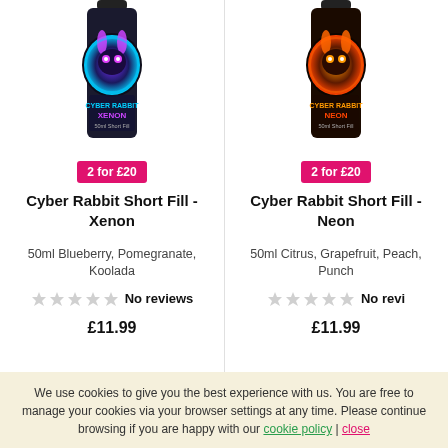[Figure (photo): Cyber Rabbit Short Fill - Xenon product bottle with purple/blue neon rabbit logo]
[Figure (photo): Cyber Rabbit Short Fill - Neon product bottle with orange/red neon rabbit logo]
2 for £20
2 for £20
Cyber Rabbit Short Fill - Xenon
Cyber Rabbit Short Fill - Neon
50ml Blueberry, Pomegranate, Koolada
50ml Citrus, Grapefruit, Peach, Punch
No reviews
No revi
£11.99
£11.99
We use cookies to give you the best experience with us. You are free to manage your cookies via your browser settings at any time. Please continue browsing if you are happy with our cookie policy | close